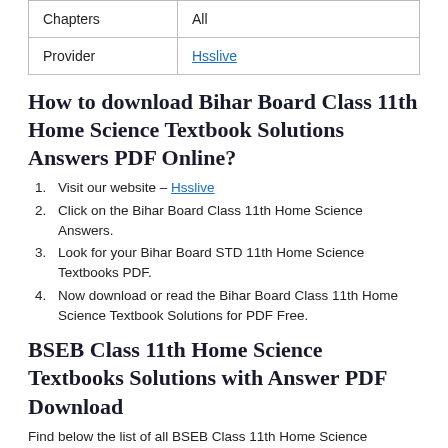| Chapters | All |
| Provider | Hsslive |
How to download Bihar Board Class 11th Home Science Textbook Solutions Answers PDF Online?
Visit our website – Hsslive
Click on the Bihar Board Class 11th Home Science Answers.
Look for your Bihar Board STD 11th Home Science Textbooks PDF.
Now download or read the Bihar Board Class 11th Home Science Textbook Solutions for PDF Free.
BSEB Class 11th Home Science Textbooks Solutions with Answer PDF Download
Find below the list of all BSEB Class 11th Home Science Textbook Solutions for PDF's for you to download and prepare for the upcoming exams: